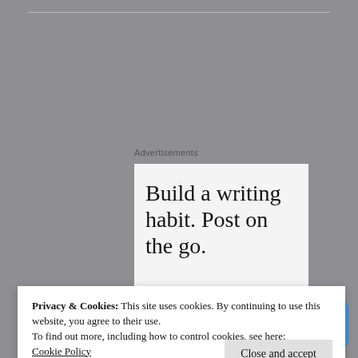[Figure (screenshot): Gray webpage background with a horizontal rule at the top]
Advertisements
[Figure (screenshot): WordPress advertisement card showing text 'Build a writing habit. Post on the go.' with a GET THE APP link and WordPress logo]
Privacy & Cookies: This site uses cookies. By continuing to use this website, you agree to their use. To find out more, including how to control cookies, see here: Cookie Policy
Close and accept